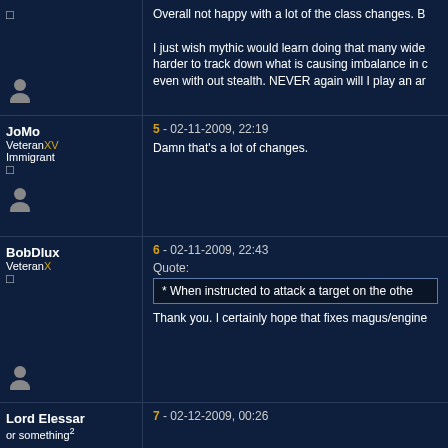Overall not happy with a lot of the class changes. B
I just wish mythic would learn doing that many wide harder to track down what is causing imbalance in c even with out stealth. NEVER again will I play an ar
JoMo
VeteranXV
Immigrant
5 - 02-11-2009, 22:19
Damn that's a lot of changes.
BobDlux
VeteranX
6 - 02-11-2009, 22:43
Quote:
* When instructed to attack a target on the othe
Thank you. I certainly hope that fixes magus/engine
Lord Elessar
or something²
7 - 02-12-2009, 00:26